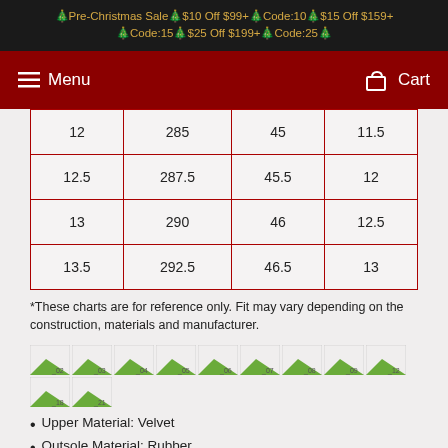🎄Pre-Christmas Sale🎄$10 Off $99+🎄Code:10🎄$15 Off $159+ 🎄Code:15🎄$25 Off $199+🎄Code:25🎄
Menu   Cart
| 12 | 285 | 45 | 11.5 |
| 12.5 | 287.5 | 45.5 | 12 |
| 13 | 290 | 46 | 12.5 |
| 13.5 | 292.5 | 46.5 | 13 |
*These charts are for reference only. Fit may vary depending on the construction, materials and manufacturer.
[Figure (photo): Row of small thumbnail images labeled _02, _03, _04, _05, _06, _07, _08, _09, _12, _18, _21]
Upper Material: Velvet
Outsole Material: Rubber
Closure Type: Slip-On